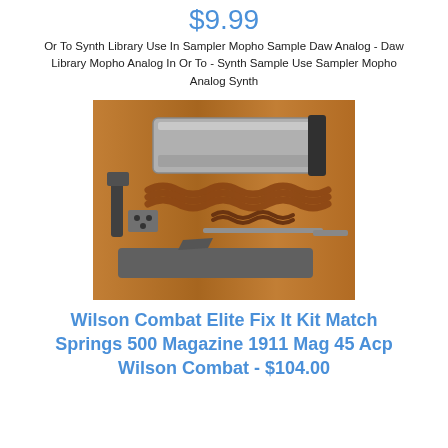$9.99
Or To Synth Library Use In Sampler Mopho Sample Daw Analog - Daw Library Mopho Analog In Or To - Synth Sample Use Sampler Mopho Analog Synth
[Figure (photo): Photo of Wilson Combat Elite Fix It Kit parts laid out on a wooden surface, including a slide, springs, and other firearm components.]
Wilson Combat Elite Fix It Kit Match Springs 500 Magazine 1911 Mag 45 Acp Wilson Combat - $104.00